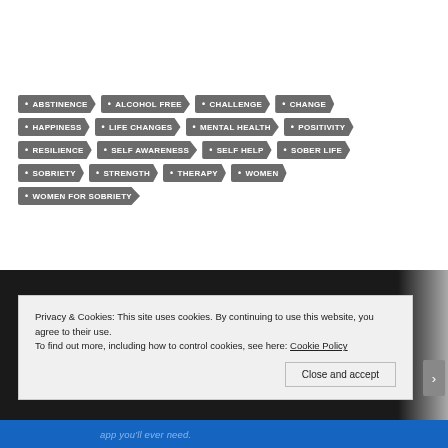• ABSTINENCE
• ALCOHOL FREE
• CHALLENGE
• CHANGE
• HAPPINESS
• LIFE CHANGES
• MENTAL HEALTH
• POSITIVITY
• RESILIENCE
• SELF AWARENESS
• SELF HELP
• SOBER LIFE
• SOBRIETY
• STRENGTH
• THERAPY
• WOMEN
• WOMEN FOR SOBRIETY
Privacy & Cookies: This site uses cookies. By continuing to use this website, you agree to their use. To find out more, including how to control cookies, see here: Cookie Policy
Close and accept